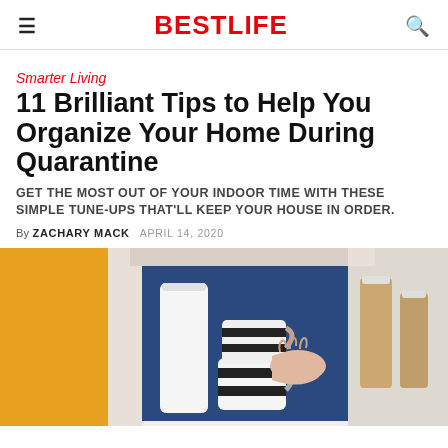BESTLIFE
Smarter Living
11 Brilliant Tips to Help You Organize Your Home During Quarantine
GET THE MOST OUT OF YOUR INDOOR TIME WITH THESE SIMPLE TUNE-UPS THAT'LL KEEP YOUR HOUSE IN ORDER.
By ZACHARY MACK   APRIL 14, 2020
[Figure (photo): A person placing or retrieving striped black and white mugs from an open kitchen cabinet with a blue interior and yellow wall visible to the left; glass jars on the right side.]